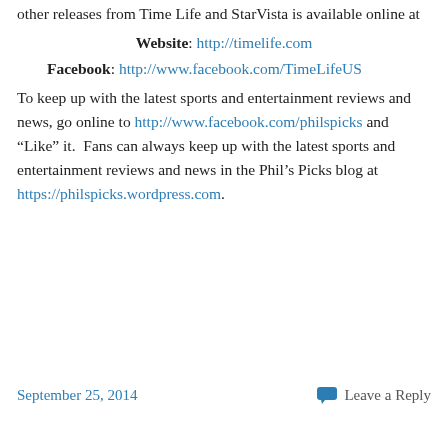other releases from Time Life and StarVista is available online at
Website: http://timelife.com
Facebook: http://www.facebook.com/TimeLifeUS
To keep up with the latest sports and entertainment reviews and news, go online to http://www.facebook.com/philspicks and “Like” it.  Fans can always keep up with the latest sports and entertainment reviews and news in the Phil’s Picks blog at https://philspicks.wordpress.com.
September 25, 2014
Leave a Reply